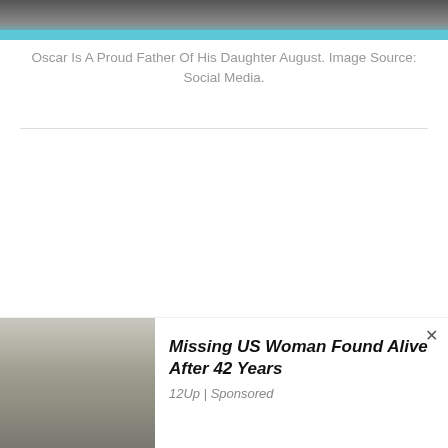[Figure (photo): Top portion of a photo showing a person, partially cropped, with a cyan/teal color bar along the bottom edge of the image.]
Oscar Is A Proud Father Of His Daughter August. Image Source: Social Media.
[Figure (photo): Advertisement image showing three police officers standing outdoors near trees and a vehicle.]
Missing US Woman Found Alive After 42 Years
12Up | Sponsored